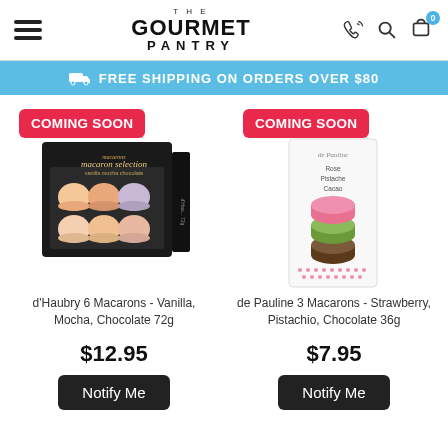THE GOURMET PANTRY
FREE SHIPPING ON ORDERS OVER $80
[Figure (photo): d'Haubry macaron selection box with COMING SOON badge]
d'Haubry 6 Macarons - Vanilla, Mocha, Chocolate 72g
$12.95
Notify Me
[Figure (photo): de Pauline macarons box with COMING SOON badge]
de Pauline 3 Macarons - Strawberry, Pistachio, Chocolate 36g
$7.95
Notify Me